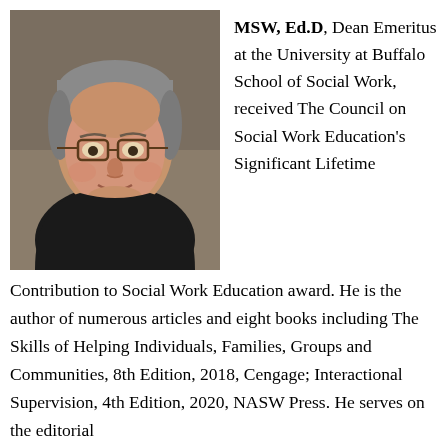[Figure (photo): Professional headshot of a middle-aged to older man with gray hair, glasses, wearing a black sweater over a light shirt with a dark red tie, photographed against a gray-brown background.]
MSW, Ed.D, Dean Emeritus at the University at Buffalo School of Social Work, received The Council on Social Work Education's Significant Lifetime Contribution to Social Work Education award. He is the author of numerous articles and eight books including The Skills of Helping Individuals, Families, Groups and Communities, 8th Edition, 2018, Cengage; Interactional Supervision, 4th Edition, 2020, NASW Press. He serves on the editorial